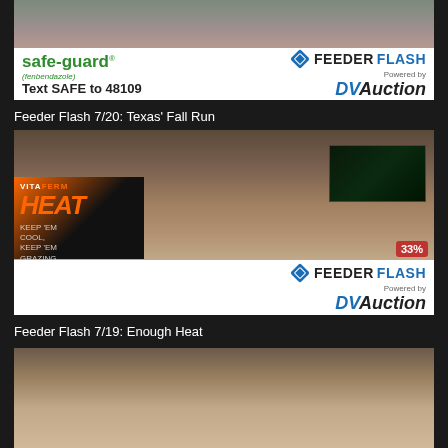[Figure (screenshot): Video thumbnail for Feeder Flash 7/20: Texas Fall Run, showing a man in a pink shirt with Safe-Guard and Feeder Flash DVAuction logos]
Feeder Flash 7/20: Texas' Fall Run
[Figure (screenshot): Video thumbnail for Feeder Flash 7/19: Enough Heat, showing a man in a white cowboy hat with VitaFerm Heat ad and Feeder Flash DVAuction logo]
Feeder Flash 7/19: Enough Heat
[Figure (screenshot): Partial video thumbnail for another Feeder Flash episode showing a man in a white cowboy hat]